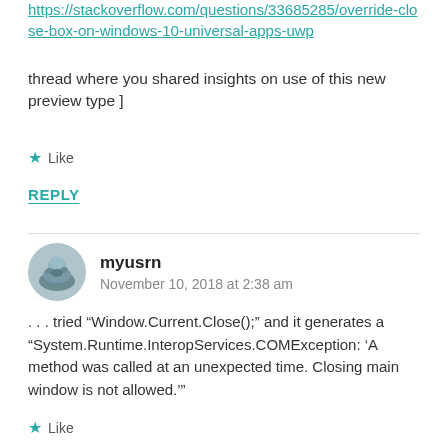https://stackoverflow.com/questions/33685285/override-close-box-on-windows-10-universal-apps-uwp
thread where you shared insights on use of this new preview type ]
Like
REPLY
myusrn
November 10, 2018 at 2:38 am
. . . tried “Window.Current.Close();” and it generates a “System.Runtime.InteropServices.COMException: ‘A method was called at an unexpected time. Closing main window is not allowed.’”
Like